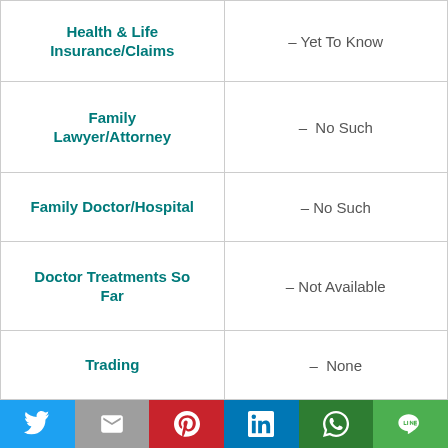| Category | Status |
| --- | --- |
| Health & Life Insurance/Claims | – Yet To Know |
| Family Lawyer/Attorney | –  No Such |
| Family Doctor/Hospital | – No Such |
| Doctor Treatments So Far | – Not Available |
| Trading | –  None |
| Share Market | – Not Sure |
| Website Hosted/Hosting? | No |